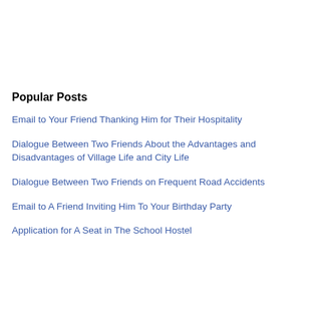Popular Posts
Email to Your Friend Thanking Him for Their Hospitality
Dialogue Between Two Friends About the Advantages and Disadvantages of Village Life and City Life
Dialogue Between Two Friends on Frequent Road Accidents
Email to A Friend Inviting Him To Your Birthday Party
Application for A Seat in The School Hostel